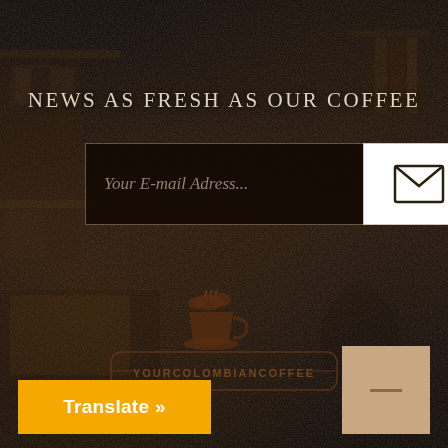NEWS AS FRESH AS OUR COFFEE
Your E-mail Adress...
[Figure (logo): Coffee cup logo with steam above and text YOURCOLOMBIANCOFFEE inside a rounded rectangle badge]
Translate »